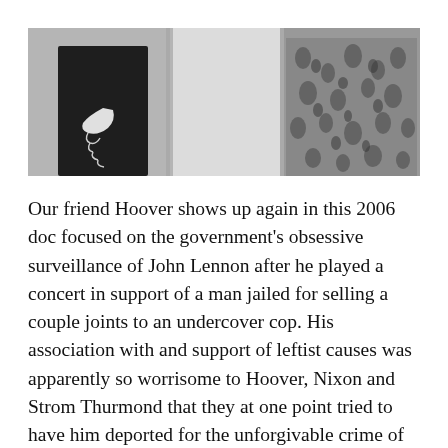[Figure (photo): Black and white photograph showing two partial figures: on the left, a person in dark clothing with a hand on hip; on the right, a person in a floral patterned dress. The center background is light/white.]
Our friend Hoover shows up again in this 2006 doc focused on the government's obsessive surveillance of John Lennon after he played a concert in support of a man jailed for selling a couple joints to an undercover cop. His association with and support of leftist causes was apparently so worrisome to Hoover, Nixon and Strom Thurmond that they at one point tried to have him deported for the unforgivable crime of having a dubious drug conviction on his record from the UK.